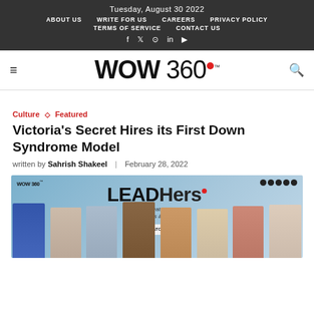Tuesday, August 30 2022
ABOUT US | WRITE FOR US | CAREERS | PRIVACY POLICY | TERMS OF SERVICE | CONTACT US
[Figure (logo): WOW 360 logo with red dot and TM mark, hamburger menu left, search icon right]
Culture ◇ Featured
Victoria's Secret Hires its First Down Syndrome Model
written by Sahrish Shakeel | February 28, 2022
[Figure (photo): LEADHers web series banner - WOW 360 promotional image featuring multiple women, text reads 'LEADHers - Web series featuring impact, challenges & success' with a Watch Now button]